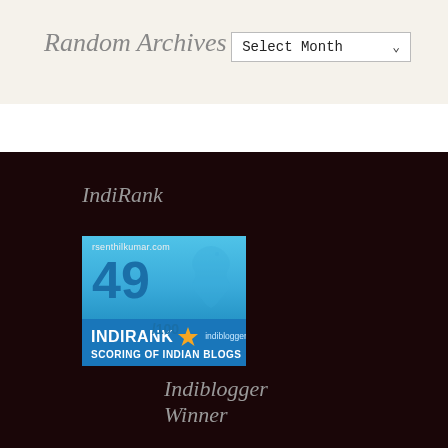Random Archives
Select Month ▾
IndiRank
[Figure (other): IndiRank badge showing score 49/100 for rsenthilkumar.com from indiblogger.in - Scoring of Indian Blogs]
Indiblogger Winner